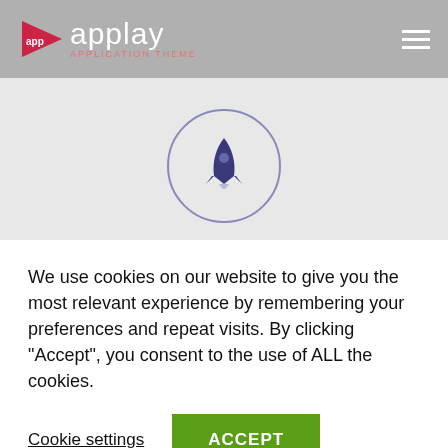applay APPLICATION THEME
[Figure (logo): Applay application theme logo with red triangle arrow and white text, hamburger menu icon on right]
[Figure (illustration): Circle outline with dark blue rocket icon inside]
PRIVACY
Encrypted Data
[Figure (illustration): Partial circle outline visible at bottom of content area]
We use cookies on our website to give you the most relevant experience by remembering your preferences and repeat visits. By clicking “Accept”, you consent to the use of ALL the cookies.
Cookie settings
ACCEPT